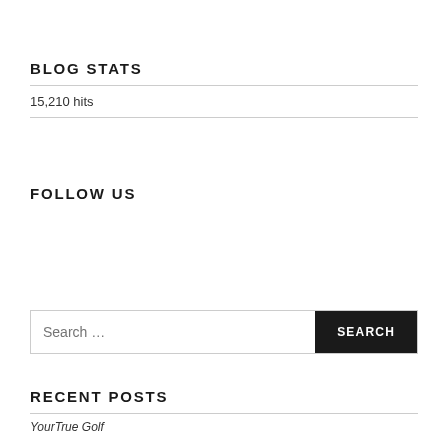BLOG STATS
15,210 hits
FOLLOW US
Search …
RECENT POSTS
YourTrue Golf